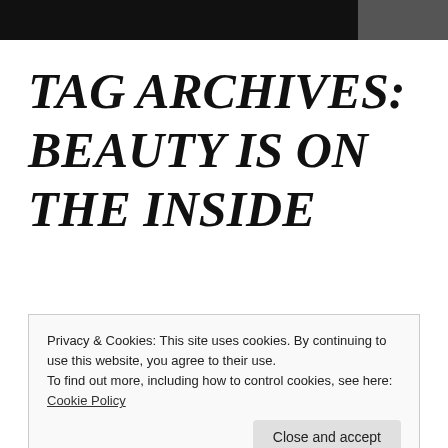TAG ARCHIVES: BEAUTY IS ON THE INSIDE
BEAUTY IS ON THE
Privacy & Cookies: This site uses cookies. By continuing to use this website, you agree to their use.
To find out more, including how to control cookies, see here: Cookie Policy
Close and accept
Posted on June 28, 2016 under Uncategorized